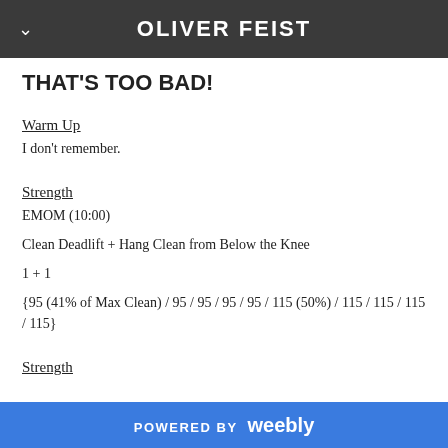OLIVER FEIST
THAT'S TOO BAD!
Warm Up
I don't remember.
Strength
EMOM (10:00)
Clean Deadlift + Hang Clean from Below the Knee
1 + 1
{95 (41% of Max Clean) / 95 / 95 / 95 / 95 / 115 (50%) / 115 / 115 / 115 / 115}
Strength
POWERED BY weebly